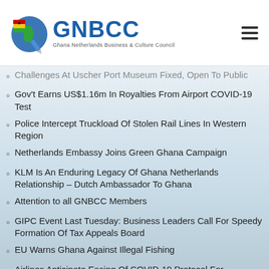GNBCC — Ghana Netherlands Business & Culture Council
Challenges At Uscher Port Museum Fixed, Open To Public
Gov't Earns US$1.16m In Royalties From Airport COVID-19 Test
Police Intercept Truckload Of Stolen Rail Lines In Western Region
Netherlands Embassy Joins Green Ghana Campaign
KLM Is An Enduring Legacy Of Ghana Netherlands Relationship – Dutch Ambassador To Ghana
Attention to all GNBCC Members
GIPC Event Last Tuesday: Business Leaders Call For Speedy Formation Of Tax Appeals Board
EU Warns Ghana Against Illegal Fishing
Airlines Anticipate Easing Of COVID-19 Protocol For Vaccinated Passengers
In Memoriam Georgios Tsopanakis